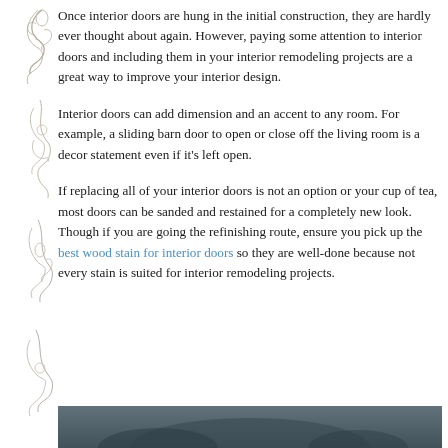Once interior doors are hung in the initial construction, they are hardly ever thought about again. However, paying some attention to interior doors and including them in your interior remodeling projects are a great way to improve your interior design.
Interior doors can add dimension and an accent to any room. For example, a sliding barn door to open or close off the living room is a decor statement even if it's left open.
If replacing all of your interior doors is not an option or your cup of tea, most doors can be sanded and restained for a completely new look. Though if you are going the refinishing route, ensure you pick up the best wood stain for interior doors so they are well-done because not every stain is suited for interior remodeling projects.
[Figure (photo): Partial view of a decorative interior scene, dark/grey toned image at the bottom of the page]